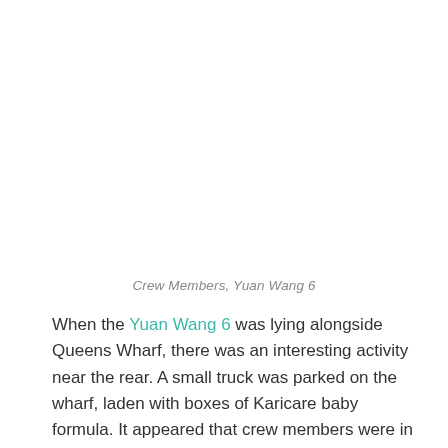Crew Members, Yuan Wang 6
When the Yuan Wang 6 was lying alongside Queens Wharf, there was an interesting activity near the rear. A small truck was parked on the wharf, laden with boxes of Karicare baby formula. It appeared that crew members were in the process of purchasing quantities of the product, maybe even in the form of some kind of auction....